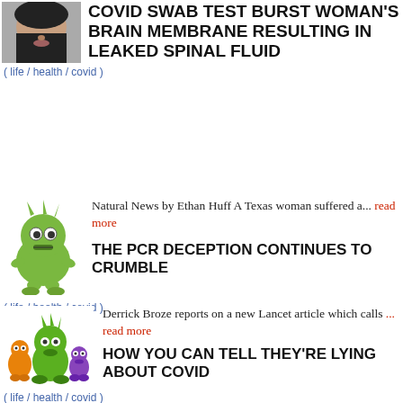COVID SWAB TEST BURST WOMAN'S BRAIN MEMBRANE RESULTING IN LEAKED SPINAL FLUID
( life / health / covid )
[Figure (illustration): Cartoon green spiky monster/germ character]
Natural News by Ethan Huff A Texas woman suffered a... read more
THE PCR DECEPTION CONTINUES TO CRUMBLE
( life / health / covid )
[Figure (illustration): Group of three cartoon germ/monster characters - orange, green, purple]
Derrick Broze reports on a new Lancet article which calls ... read more
HOW YOU CAN TELL THEY'RE LYING ABOUT COVID
( life / health / covid )